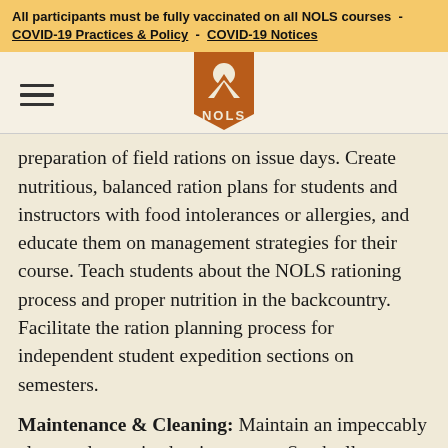All participants must be fully vaccinated on all NOLS courses - COVID-19 Practices & Policy - COVID-19 Notices
[Figure (logo): NOLS logo - orange pennant shape with mountain and moon icon above, NOLS text below]
preparation of field rations on issue days. Create nutritious, balanced ration plans for students and instructors with food intolerances or allergies, and educate them on management strategies for their course. Teach students about the NOLS rationing process and proper nutrition in the backcountry. Facilitate the ration planning process for independent student expedition sections on semesters.
Maintenance & Cleaning: Maintain an impeccably clean and organized rations room. Stock all course food supplies. Oversee that food preparation, serving,